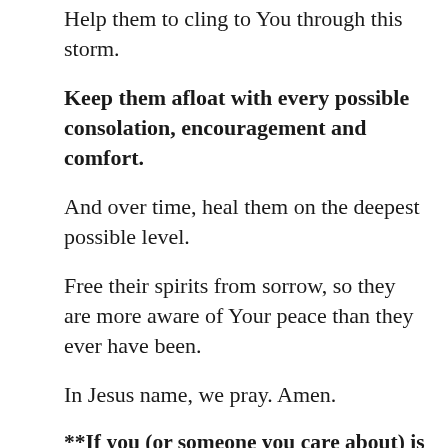Help them to cling to You through this storm.
Keep them afloat with every possible consolation, encouragement and comfort.
And over time, heal them on the deepest possible level.
Free their spirits from sorrow, so they are more aware of Your peace than they ever have been.
In Jesus name, we pray. Amen.
**If you (or someone you care about) is contemplating suicide, please know there are people who care about you, who can help. For more information, call The National Suicide Prevention Lifeline 24 hours per day